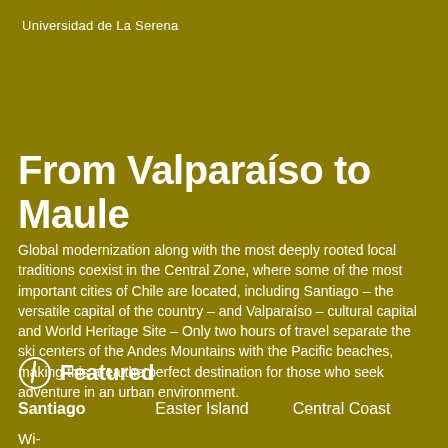Universidad de La Serena
From Valparaíso to Maule
Global modernization along with the most deeply rooted local traditions coexist in the Central Zone, where some of the most important cities of Chile are located, including Santiago – the versatile capital of the country – and Valparaíso – cultural capital and World Heritage Site – Only two hours of travel separate the ski centers of the Andes Mountains with the Pacific beaches, making this area the perfect destination for those who seek adventure in an urban environment.
Featured
Santiago
Easter Island
Central Coast